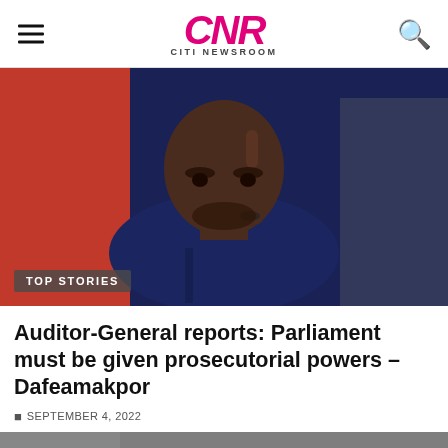CNR CITI NEWSROOM
[Figure (photo): Man in dark navy blue shirt pointing one finger upward, seated in a studio setting with red and grey background. A 'TOP STORIES' badge overlays the lower-left corner.]
Auditor-General reports: Parliament must be given prosecutorial powers – Dafeamakpor
SEPTEMBER 4, 2022
[Figure (photo): Partial thumbnail of another article image visible at the bottom of the page.]